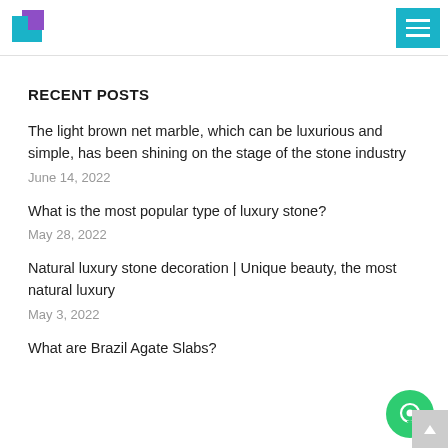Logo and navigation menu
RECENT POSTS
The light brown net marble, which can be luxurious and simple, has been shining on the stage of the stone industry
June 14, 2022
What is the most popular type of luxury stone?
May 28, 2022
Natural luxury stone decoration | Unique beauty, the most natural luxury
May 3, 2022
What are Brazil Agate Slabs?